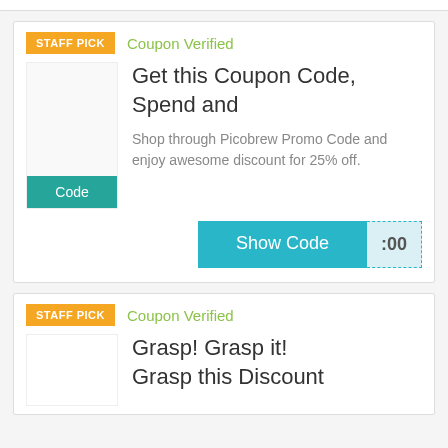STAFF PICK
Coupon Verified
Get this Coupon Code, Spend and
Shop through Picobrew Promo Code and enjoy awesome discount for 25% off.
Show Code :00
STAFF PICK
Coupon Verified
Grasp! Grasp it! Grasp this Discount